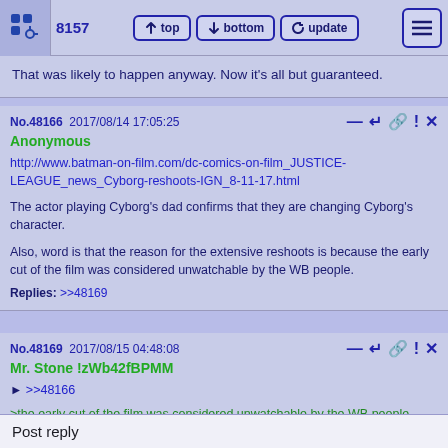48157 | top | bottom | update
That was likely to happen anyway. Now it's all but guaranteed.
No.48166  2017/08/14 17:05:25
Anonymous
http://www.batman-on-film.com/dc-comics-on-film_JUSTICE-LEAGUE_news_Cyborg-reshoots-IGN_8-11-17.html
The actor playing Cyborg's dad confirms that they are changing Cyborg's character.
Also, word is that the reason for the extensive reshoots is because the early cut of the film was considered unwatchable by the WB people.
Replies: >>48169
No.48169  2017/08/15 04:48:08
Mr. Stone !zWb42fBPMM
>>48166
>the early cut of the film was considered unwatchable by the WB people
These people let "Suicide Squad" end up like it did. If "Justice League" is "unwatchable", I can only imagine how bad it is in comparison.
Replies: >>48172 >>48174
No.48172  2017/08/15 05:24:05
Post reply